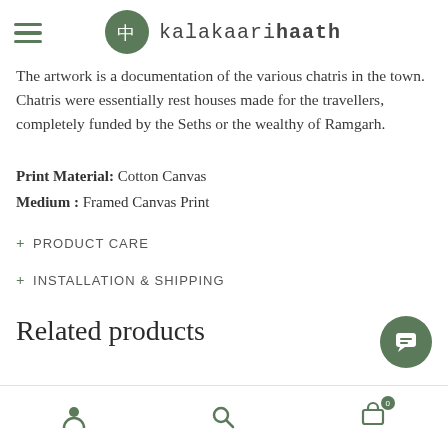kalakaarihaath
The artwork is a documentation of the various chatris in the town. Chatris were essentially rest houses made for the travellers, completely funded by the Seths or the wealthy of Ramgarh.
Print Material: Cotton Canvas
Medium : Framed Canvas Print
+ PRODUCT CARE
+ INSTALLATION & SHIPPING
Related products